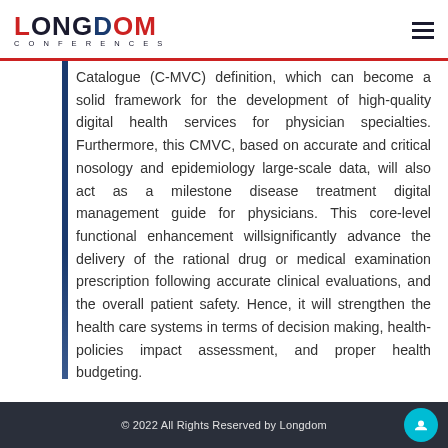LONGDOM CONFERENCES
Catalogue (C-MVC) definition, which can become a solid framework for the development of high-quality digital health services for physician specialties. Furthermore, this CMVC, based on accurate and critical nosology and epidemiology large-scale data, will also act as a milestone disease treatment digital management guide for physicians. This core-level functional enhancement willsignificantly advance the delivery of the rational drug or medical examination prescription following accurate clinical evaluations, and the overall patient safety. Hence, it will strengthen the health care systems in terms of decision making, health-policies impact assessment, and proper health budgeting.
© 2022 All Rights Reserved by Longdom